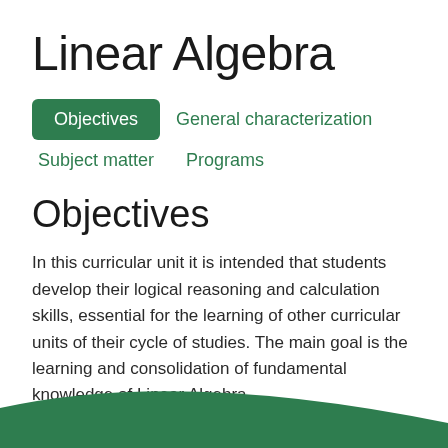Linear Algebra
Objectives
General characterization
Subject matter
Programs
Objectives
In this curricular unit it is intended that students develop their logical reasoning and calculation skills, essential for the learning of other curricular units of their cycle of studies. The main goal is the learning and consolidation of fundamental knowledge of Linear Algebra.